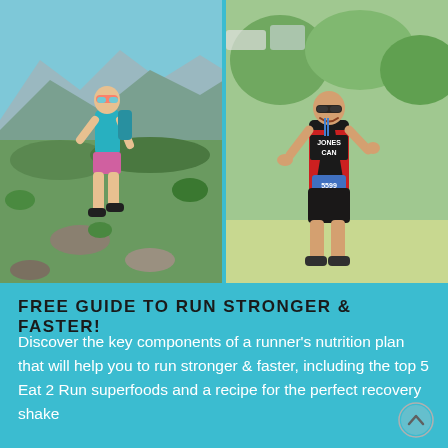[Figure (photo): Two side-by-side photos: left shows a woman trail running in mountains wearing teal top and pink shorts with backpack; right shows a woman in Canada triathlon suit (JONES CAN) holding a medal and giving thumbs up]
FREE GUIDE TO RUN STRONGER & FASTER!
Discover the key components of a runner's nutrition plan that will help you to run stronger & faster, including the top 5 Eat 2 Run superfoods and a recipe for the perfect recovery shake